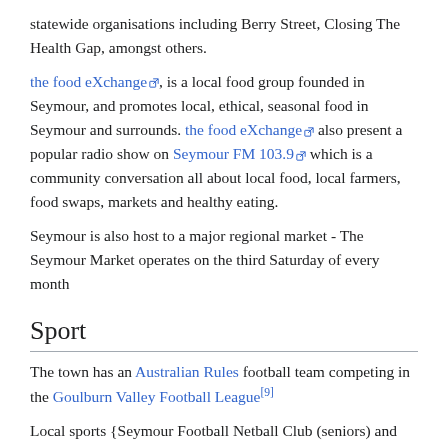statewide organisations including Berry Street, Closing The Health Gap, amongst others.
the food eXchange, is a local food group founded in Seymour, and promotes local, ethical, seasonal food in Seymour and surrounds. the food eXchange also present a popular radio show on Seymour FM 103.9 which is a community conversation all about local food, local farmers, food swaps, markets and healthy eating.
Seymour is also host to a major regional market - The Seymour Market operates on the third Saturday of every month
Sport
The town has an Australian Rules football team competing in the Goulburn Valley Football League[9]
Local sports {Seymour Football Netball Club (seniors) and Seymour Blasters Basketball} teams are broadcast live to air for all home and away games by the local community radio station 103.9 FM.
The township is well equipped with sporting facities that include an